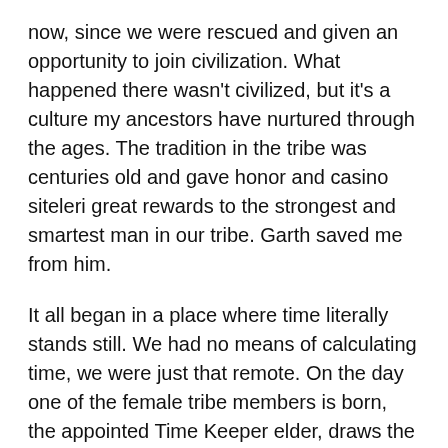now, since we were rescued and given an opportunity to join civilization. What happened there wasn't civilized, but it's a culture my ancestors have nurtured through the ages. The tradition in the tribe was centuries old and gave honor and casino siteleri great rewards to the strongest and smartest man in our tribe. Garth saved me from him.
It all began in a place where time literally stands still. We had no means of calculating time, we were just that remote. On the day one of the female tribe members is born, the appointed Time Keeper elder, draws the shape of the stars and the position of the sun with a crude piece of charcoal in an enclosed chamber. Access to this information is only allowed by the elder who was appointed, the Time Keeper.